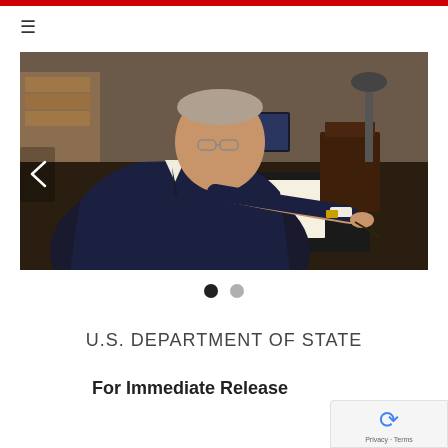[Figure (photo): An official in a dark suit sitting at a wooden desk, signing a document in a black folder, with office items visible in the background.]
U.S. DEPARTMENT OF STATE
For Immediate Release